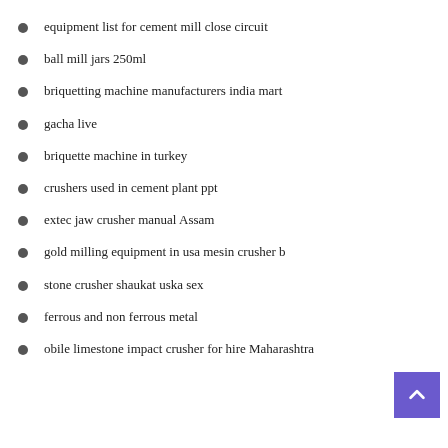equipment list for cement mill close circuit
ball mill jars 250ml
briquetting machine manufacturers india mart
gacha live
briquette machine in turkey
crushers used in cement plant ppt
extec jaw crusher manual Assam
gold milling equipment in usa mesin crusher b
stone crusher shaukat uska sex
ferrous and non ferrous metal
obile limestone impact crusher for hire Maharashtra